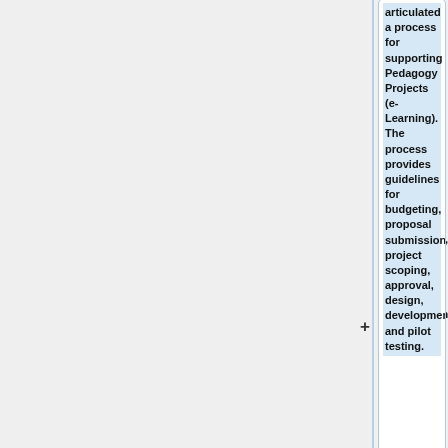articulated a process for supporting Pedagogy Projects (e-Learning). The process provides guidelines for budgeting, proposal submission, project scoping, approval, design, development and pilot testing.
===Terms Definition===